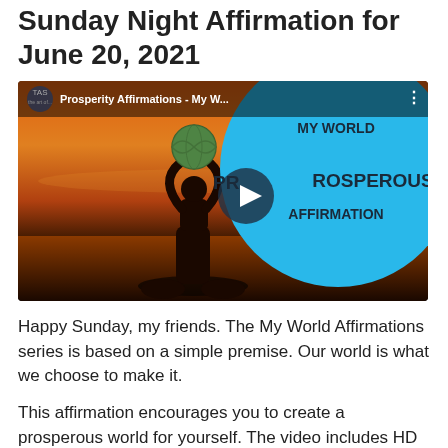Sunday Night Affirmation for June 20, 2021
[Figure (screenshot): YouTube video thumbnail for 'Prosperity Affirmations - My W...' showing a silhouette of a person holding a globe above their head against an orange sunset sky, with a large blue circle overlay containing the text 'MY WORLD PROSPEROUS AFFIRMATION' and a play button in the center. The top bar shows the TAS logo and video title.]
Happy Sunday, my friends. The My World Affirmations series is based on a simple premise. Our world is what we choose to make it.
This affirmation encourages you to create a prosperous world for yourself. The video includes HD footage from beautiful spots around the planet. It's a